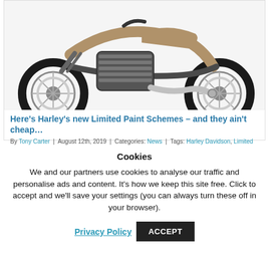[Figure (photo): Partial top view of a Harley-Davidson motorcycle (bobber/fat boy style) showing the engine, exhaust, and both wheels on a white background]
Here's Harley's new Limited Paint Schemes – and they ain't cheap…
By Tony Carter | August 12th, 2019 | Categories: News | Tags: Harley Davidson, Limited Edition,
Cookies
We and our partners use cookies to analyse our traffic and personalise ads and content. It's how we keep this site free. Click to accept and we'll save your settings (you can always turn these off in your browser).
Privacy Policy   ACCEPT